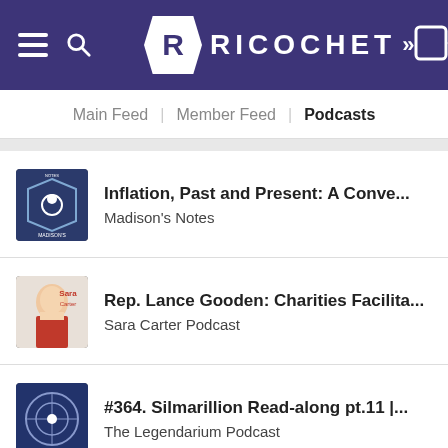RICOCHET
Main Feed | Member Feed | Podcasts
Inflation, Past and Present: A Conve... — Madison's Notes
Rep. Lance Gooden: Charities Facilita... — Sara Carter Podcast
#364. Silmarillion Read-along pt.11 |... — The Legendarium Podcast
Why Aren't Working-Age Men Worki... — Federalist Radio Hour
S11 EP154: Hour 1 – Facebook Folds F...